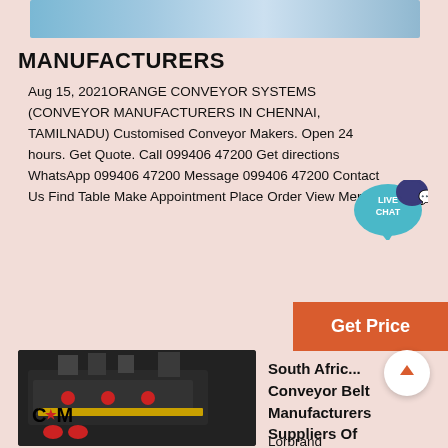[Figure (photo): Partial view of a landscape/sky photo at top of page]
MANUFACTURERS
Aug 15, 2021ORANGE CONVEYOR SYSTEMS (CONVEYOR MANUFACTURERS IN CHENNAI, TAMILNADU) Customised Conveyor Makers. Open 24 hours. Get Quote. Call 099406 47200 Get directions WhatsApp 099406 47200 Message 099406 47200 Contact Us Find Table Make Appointment Place Order View Menu.
[Figure (infographic): Live Chat speech bubble icon in teal/blue with text LIVE CHAT]
[Figure (other): Orange Get Price button]
[Figure (other): White circle scroll-up arrow button]
[Figure (photo): Photo of industrial conveyor belt machinery with CCM logo, black heavy equipment]
South Africa Conveyor Belt Manufacturers Suppliers Of
Lorbrand Specialists In